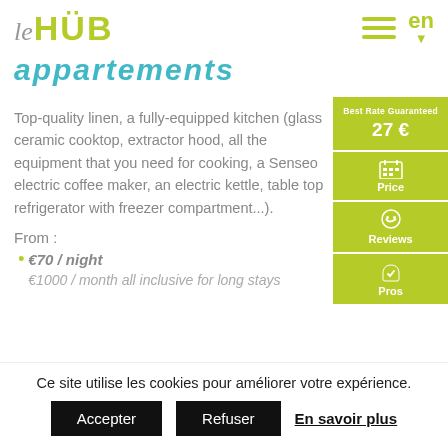[Figure (logo): leHUB logo with stylized text]
appartements
Top-quality linen, a fully-equipped kitchen (glass ceramic cooktop, extractor hood, all the equipment that you need for cooking, a Senseo electric coffee maker, an electric kettle, table top refrigerator with freezer compartment...).
From :
€70 / night
€1000 / month all inclusive for long stays
Ce site utilise les cookies pour améliorer votre expérience.